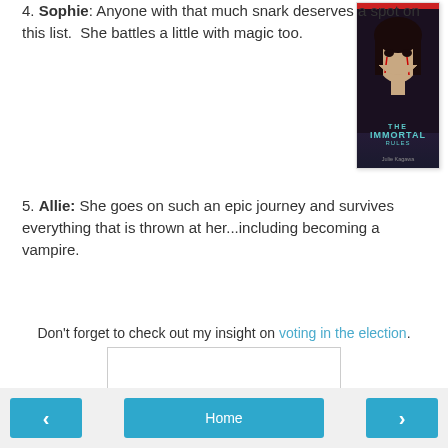4. Sophie: Anyone with that much snark deserves a spot on this list.  She battles a little with magic too.
[Figure (photo): Book cover of 'The Immortal Rules' by Julie Kagawa, featuring a dark-toned face with tear-like markings]
5. Allie: She goes on such an epic journey and survives everything that is thrown at her...including becoming a vampire.
Don't forget to check out my insight on voting in the election.
[Figure (illustration): Signature block with a pink flower icon and handwritten 'Melissa' text]
< Home >